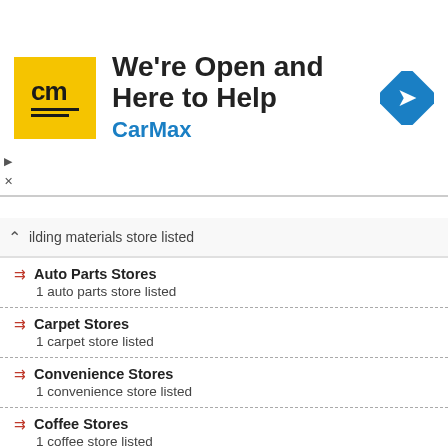[Figure (logo): CarMax advertisement banner with logo and navigation icon. Text: We're Open and Here to Help, CarMax]
ilding materials store listed
Auto Parts Stores
1 auto parts store listed
Carpet Stores
1 carpet store listed
Convenience Stores
1 convenience store listed
Coffee Stores
1 coffee store listed
Art Supply Stores
1 art supply store listed
Baby Stores
1 baby store listed
Bird Shops
1 bird shop listed
Department Stores
1 department store listed
Fashion Accessories Stores
1 fashion accessories store listed